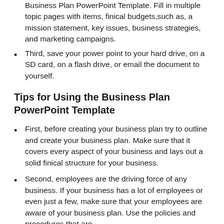Business Plan PowerPoint Template. Fill in multiple topic pages with items, finical budgets,such as, a mission statement, key issues, business strategies, and marketing campaigns.
Third, save your power point to your hard drive, on a SD card, on a flash drive, or email the document to yourself.
Tips for Using the Business Plan PowerPoint Template
First, before creating your business plan try to outline and create your business plan. Make sure that it covers every aspect of your business and lays out a solid finical structure for your business.
Second, employees are the driving force of any business. If your business has a lot of employees or even just a few, make sure that your employees are aware of your business plan. Use the policies and procedures that are